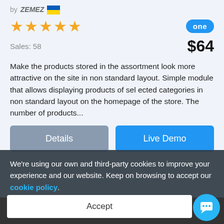by ZEMEZ 🇺🇦
[Figure (other): Five gold star rating icons]
[Figure (other): ONE badge - blue rounded rectangle with white text]
Sales: 58
$64
Make the products stored in the assortment look more attractive on the site in non standard layout. Simple module that allows displaying products of sel ected categories in non standard layout on the homepage of the store. The number of products...
Details
Live Demo
We're using our own and third-party cookies to improve your experience and our website. Keep on browsing to accept our cookie policy.
Accept